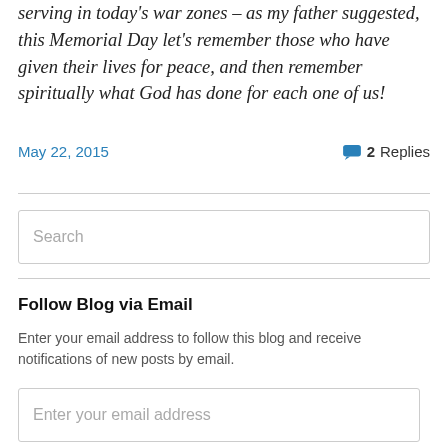serving in today's war zones – as my father suggested, this Memorial Day let's remember those who have given their lives for peace, and then remember spiritually what God has done for each one of us!
May 22, 2015
2 Replies
Search
Follow Blog via Email
Enter your email address to follow this blog and receive notifications of new posts by email.
Enter your email address